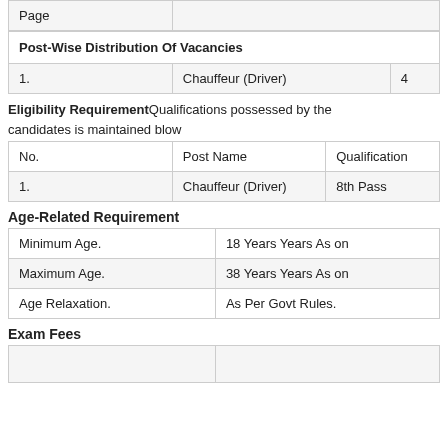| Page |  |
| --- | --- |
| Page |  |
| Post-Wise Distribution Of Vacancies |
| --- |
| 1. | Chauffeur (Driver) | 4 |
Eligibility RequirementQualifications possessed by the candidates is maintained blow
| No. | Post Name | Qualification |
| --- | --- | --- |
| 1. | Chauffeur (Driver) | 8th Pass |
Age-Related Requirement
| Minimum Age. | 18 Years Years As on |
| Maximum Age. | 38 Years Years As on |
| Age Relaxation. | As Per Govt Rules. |
Exam Fees
|  |  |